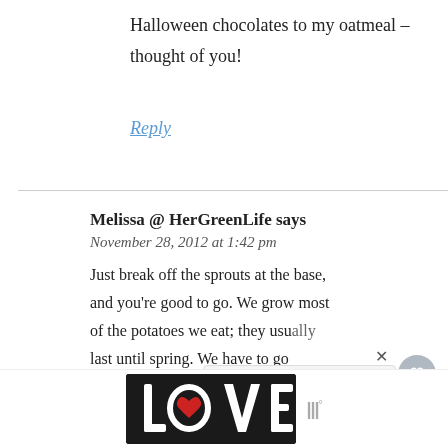Halloween chocolates to my oatmeal – thought of you!
Reply
Melissa @ HerGreenLife says
November 28, 2012 at 1:42 pm
Just break off the sprouts at the base, and you're good to go. We grow most of the potatoes we eat; they usually last until spring. We have to go through periodically and break off the
[Figure (other): LOVE text art advertisement banner at bottom of page]
WHAT'S NEXT → To ATL and Back